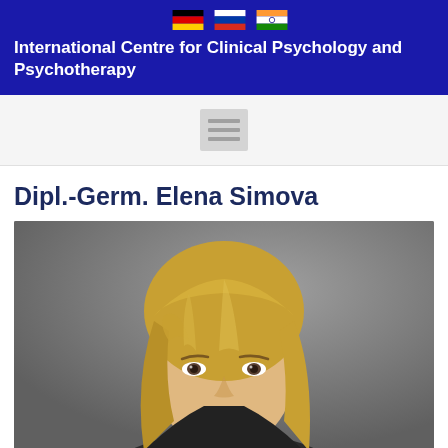International Centre for Clinical Psychology and Psychotherapy
[Figure (photo): Navigation/menu bar with hamburger icon]
Dipl.-Germ. Elena Simova
[Figure (photo): Portrait photo of Elena Simova, a woman with blonde hair against a grey background]